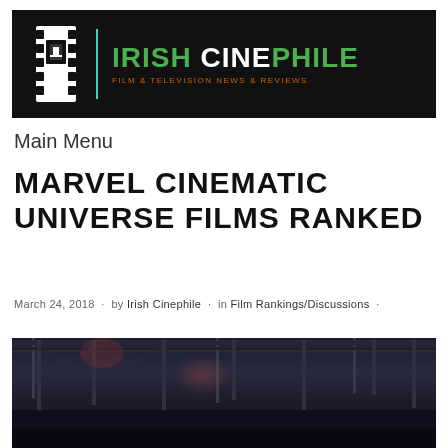[Figure (logo): Irish Cinephile logo: film strip icon on black background with teal vertical divider, site name 'IRISH CINEPHILE' in green/white bold text, tagline 'FILM & TELEVISION NEWS & REVIEWS' in orange]
Main Menu
MARVEL CINEMATIC UNIVERSE FILMS RANKED
March 24, 2018 · by Irish Cinephile · in Film Rankings/Discussions ·
[Figure (photo): Dark photo of people on a stage with overhead lighting rigs and trusswork, appears to be a Marvel-related event or film premiere stage setup]